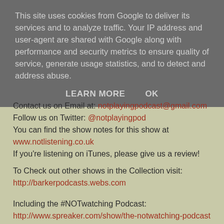This site uses cookies from Google to deliver its services and to analyze traffic. Your IP address and user-agent are shared with Google along with performance and security metrics to ensure quality of service, generate usage statistics, and to detect and address abuse.
LEARN MORE   OK
Contact us on Email at: notplayingpodcast@gmail.com
Follow us on Twitter: @notplayingpod
You can find the show notes for this show at
www.notlistening.co.uk
If you're listening on iTunes, please give us a review!
To Check out other shows in the Collection visit:
http://barkerpodcasts.webs.com
Including the #NOTwatching Podcast:
http://www.spreaker.com/show/the-notwatching-podcast
All views and opinions expressed in this podcast are solely those of The #NOTplaying Podcast.